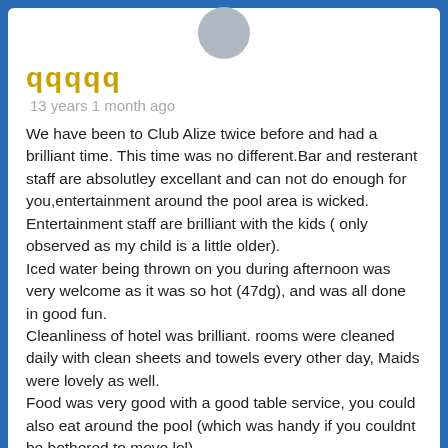[Figure (illustration): Gray circular avatar icon at top center of review card]
qqqqq
13 years 1 month ago
We have been to Club Alize twice before and had a brilliant time. This time was no different.Bar and resterant staff are absolutley excellant and can not do enough for you,entertainment around the pool area is wicked. Entertainment staff are brilliant with the kids ( only observed as my child is a little older).
Iced water being thrown on you during afternoon was very welcome as it was so hot (47dg), and was all done in good fun.
Cleanliness of hotel was brilliant. rooms were cleaned daily with clean sheets and towels every other day, Maids were lovely as well.
Food was very good with a good table service, you could also eat around the pool (which was handy if you couldnt be bothered to move lol).
Reception staff were always very helpful and pleasent and security staff were always on hand but very discretly.